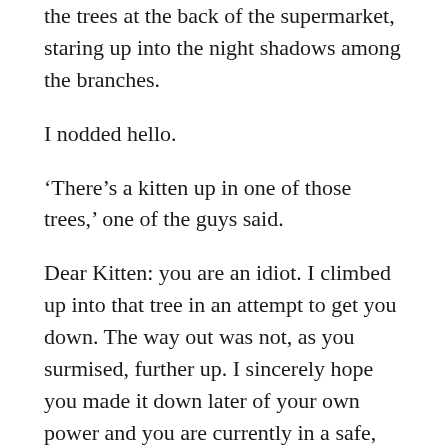the trees at the back of the supermarket, staring up into the night shadows among the branches.
I nodded hello.
‘There’s a kitten up in one of those trees,’ one of the guys said.
Dear Kitten: you are an idiot. I climbed up into that tree in an attempt to get you down. The way out was not, as you surmised, further up. I sincerely hope you made it down later of your own power and you are currently in a safe, warm place.
Dear Andrew Nonadetti: thank you for your